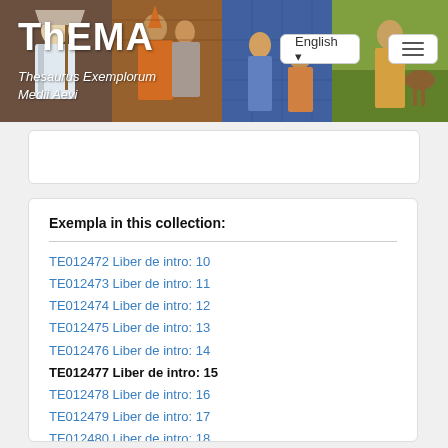[Figure (screenshot): ThEMA website header banner with medieval manuscript illustrations and navigation buttons for English language and menu]
ThEMA
Thesaurus Exemplorum Medii Aevi
Exempla in this collection:
TE012472 Liber de intro: 10
TE012473 Liber de intro: 11
TE012474 Liber de intro: 12
TE012475 Liber de intro: 13
TE012476 Liber de intro: 14
TE012477 Liber de intro: 15
TE012478 Liber de intro: 16
TE012479 Liber de intro: 17
TE012480 Liber de intro: 18